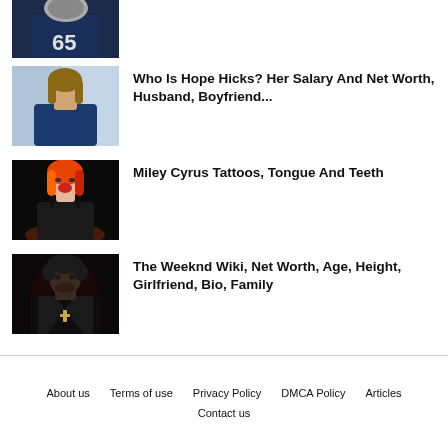[Figure (photo): Partial view of a football player in a navy blue jersey with number 65, holding a helmet]
[Figure (photo): Woman with long brown hair wearing a navy blue blazer, standing outdoors]
Who Is Hope Hicks? Her Salary And Net Worth, Husband, Boyfriend...
[Figure (photo): Miley Cyrus performing with bright orange and red hair, mouth open singing, wearing black]
Miley Cyrus Tattoos, Tongue And Teeth
[Figure (photo): The Weeknd standing against a dark background wearing a black leather jacket with a cross necklace]
The Weeknd Wiki, Net Worth, Age, Height, Girlfriend, Bio, Family
About us   Terms of use   Privacy Policy   DMCA Policy   Articles   Contact us